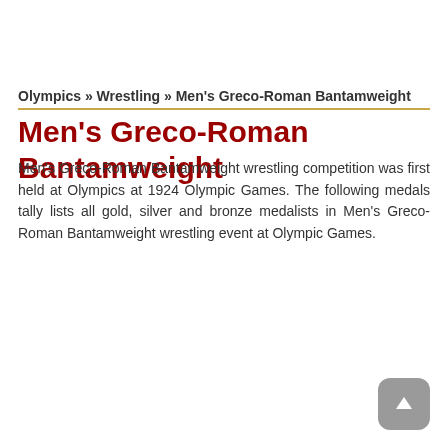Olympics » Wrestling » Men's Greco-Roman Bantamweight
Men's Greco-Roman Bantamweight
Men's Greco-Roman Bantamweight wrestling competition was first held at Olympics at 1924 Olympic Games. The following medals tally lists all gold, silver and bronze medalists in Men's Greco-Roman Bantamweight wrestling event at Olympic Games.